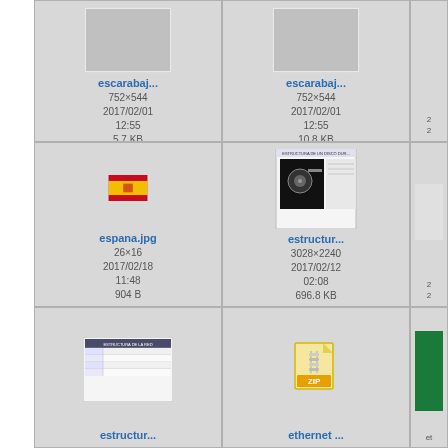[Figure (screenshot): File browser/media gallery showing thumbnail grid of files. Row 1: escarabaj... (752x544, 2017/02/01 12:55, 5.7 KB), escarabaj... (752x544, 2017/02/01 12:55, 10.8 KB), partial third item. Row 2: espana.jpg (26x16, 2017/02/18 11:48, 904 B) with Spain flag icon, estructur... (3028x2240, 2017/02/12 02:08, 696.8 KB) with document thumbnail, partial third item. Row 3: estructur... with table thumbnail, ethernet ... with ZIP icon, partial third item.]